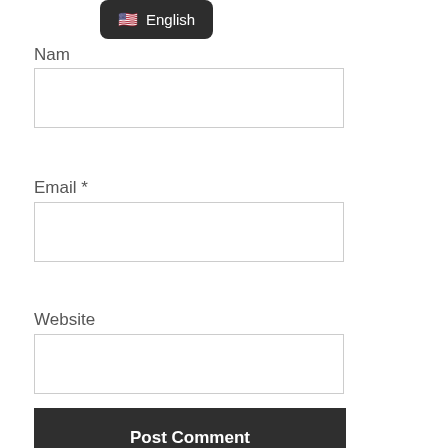[Figure (screenshot): Dark rounded tooltip/dropdown showing US flag emoji and the text 'English']
Nam *
[Figure (screenshot): Empty text input field for Name]
Email *
[Figure (screenshot): Empty text input field for Email]
Website
[Figure (screenshot): Empty text input field for Website]
Post Comment